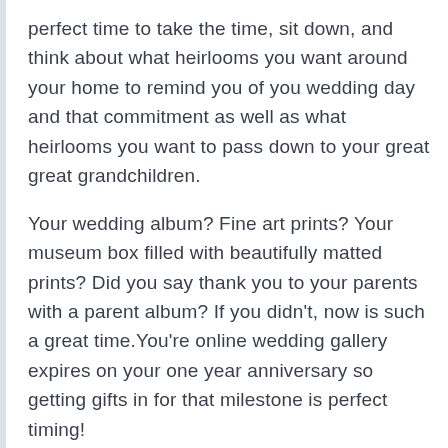perfect time to take the time, sit down, and think about what heirlooms you want around your home to remind you of you wedding day and that commitment as well as what heirlooms you want to pass down to your great great grandchildren.
Your wedding album? Fine art prints? Your museum box filled with beautifully matted prints? Did you say thank you to your parents with a parent album? If you didn't, now is such a great time.You're online wedding gallery expires on your one year anniversary so getting gifts in for that milestone is perfect timing!
Alicia Yarrish Photography